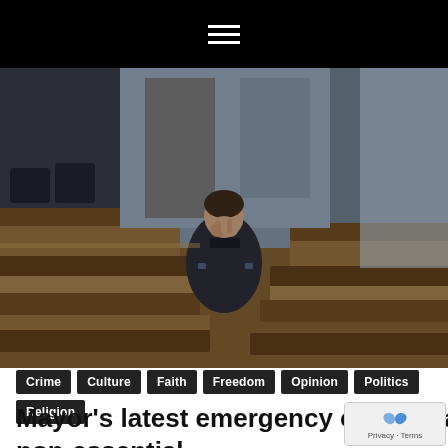≡
[Figure (photo): A man in a dark suit sitting alone in church pews with his hands clasped together and head bowed in prayer, viewed from behind/side angle in a dimly lit church interior with wooden pews.]
Crime
Culture
Faith
Freedom
Opinion
Politics
Religion
Mayor's latest emergency order again treats Anchorage churches as non-essential